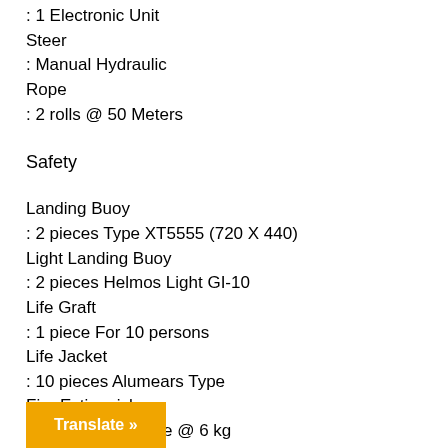: 1 Electronic Unit
Steer
: Manual Hydraulic
Rope
: 2 rolls @ 50 Meters
Safety
Landing Buoy
: 2 pieces Type XT5555 (720 X 440)
Light Landing Buoy
: 2 pieces Helmos Light GI-10
Life Graft
: 1 piece For 10 persons
Life Jacket
: 10 pieces Alumears Type
Fire Extinguisher
: 4 Tubes Gara Fire @ 6 kg